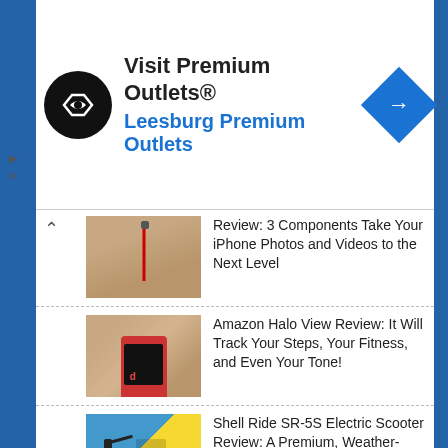[Figure (screenshot): Advertisement banner: Visit Premium Outlets® / Leesburg Premium Outlets with circular black logo and blue diamond navigation icon]
Review: 3 Components Take Your iPhone Photos and Videos to the Next Level
Amazon Halo View Review: It Will Track Your Steps, Your Fitness, and Even Your Tone!
Shell Ride SR-5S Electric Scooter Review: A Premium, Weather-Resistant Scooter at a Budget Price
Zeus Arc GTS Hub Kit Review: